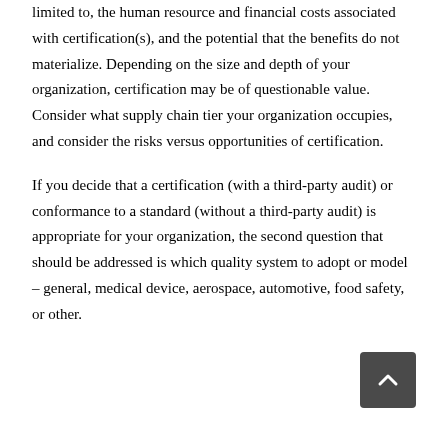limited to, the human resource and financial costs associated with certification(s), and the potential that the benefits do not materialize. Depending on the size and depth of your organization, certification may be of questionable value. Consider what supply chain tier your organization occupies, and consider the risks versus opportunities of certification.
If you decide that a certification (with a third-party audit) or conformance to a standard (without a third-party audit) is appropriate for your organization, the second question that should be addressed is which quality system to adopt or model – general, medical device, aerospace, automotive, food safety, or other.